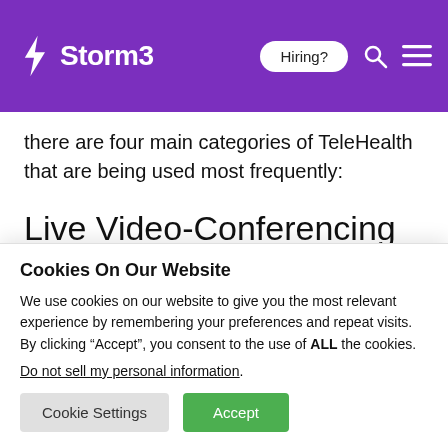Storm3 — Hiring? [search] [menu]
there are four main categories of TeleHealth that are being used most frequently:
Live Video-Conferencing
Cookies On Our Website
We use cookies on our website to give you the most relevant experience by remembering your preferences and repeat visits. By clicking “Accept”, you consent to the use of ALL the cookies.
Do not sell my personal information.